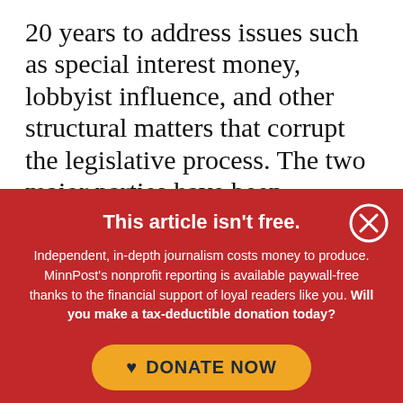20 years to address issues such as special interest money, lobbyist influence, and other structural matters that corrupt the legislative process. The two major parties have been captured by group interests that effectively make compromise impossible, and our elections
This article isn't free.
Independent, in-depth journalism costs money to produce. MinnPost's nonprofit reporting is available paywall-free thanks to the financial support of loyal readers like you. Will you make a tax-deductible donation today?
DONATE NOW